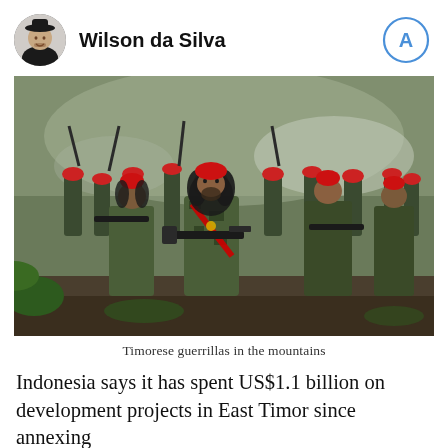Wilson da Silva
[Figure (photo): Group of Timorese guerrillas in camouflage uniforms and red berets, armed with rifles, standing in a mountain setting with smoke or mist in background. Central figure has long hair and carries a large rifle.]
Timorese guerrillas in the mountains
Indonesia says it has spent US$1.1 billion on development projects in East Timor since annexing